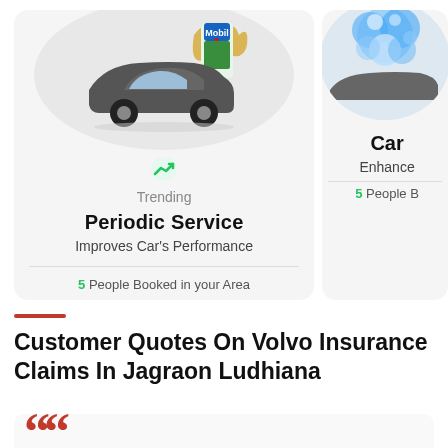[Figure (illustration): Card showing a car with Mobil 1 oil product - Periodic Service card with trending icon]
Trending
Periodic Service
Improves Car's Performance
5 People Booked in your Area
[Figure (illustration): Partial second card showing a car being washed with blue foam/sponge]
Car
Enhance
5 People B
Customer Quotes On Volvo Insurance Claims In Jagraon Ludhiana
[Figure (illustration): Large red opening double quotation marks above a quote card]